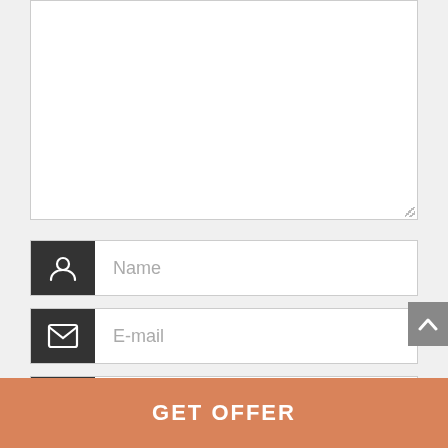[Figure (screenshot): A webpage comment form snippet showing a textarea, Name input field with person icon, E-mail input field with envelope icon, Website input field with chain-link icon, a checkbox with label 'Save my name, email, and website in this browser for the next time I comment.', a scroll-to-top button, and a salmon-colored 'GET OFFER' button at the bottom.]
Name
E-mail
Website
Save my name, email, and website in this browser for the next time I comment.
GET OFFER